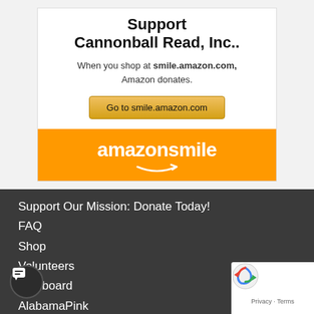[Figure (infographic): Amazon Smile promotional widget showing 'Support Cannonball Read, Inc..' with text 'When you shop at smile.amazon.com, Amazon donates.' and a button 'Go to smile.amazon.com', with an orange Amazon Smile logo bar at the bottom.]
Support Our Mission: Donate Today!
FAQ
Shop
Volunteers
Leaderboard
AlabamaPink